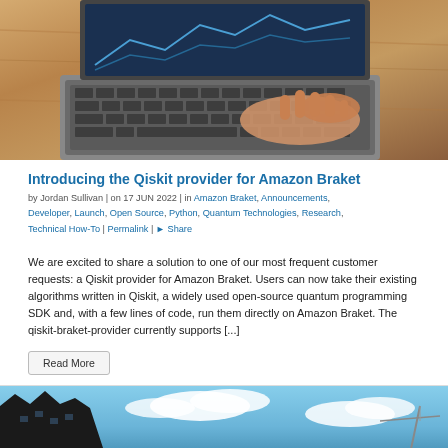[Figure (photo): Person typing on a laptop computer, viewed from above, warm wood desk background]
Introducing the Qiskit provider for Amazon Braket
by Jordan Sullivan | on 17 JUN 2022 | in Amazon Braket, Announcements, Developer, Launch, Open Source, Python, Quantum Technologies, Research, Technical How-To | Permalink | Share
We are excited to share a solution to one of our most frequent customer requests: a Qiskit provider for Amazon Braket. Users can now take their existing algorithms written in Qiskit, a widely used open-source quantum programming SDK and, with a few lines of code, run them directly on Amazon Braket. The qiskit-braket-provider currently supports [...]
Read More
[Figure (photo): Building or architectural structure against a blue sky with white clouds]